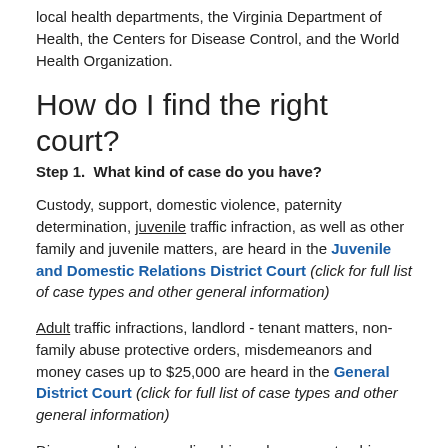local health departments, the Virginia Department of Health, the Centers for Disease Control, and the World Health Organization.
How do I find the right court?
Step 1.  What kind of case do you have?
Custody, support, domestic violence, paternity determination, juvenile traffic infraction, as well as other family and juvenile matters, are heard in the Juvenile and Domestic Relations District Court (click for full list of case types and other general information)
Adult traffic infractions, landlord - tenant matters, non-family abuse protective orders, misdemeanors and money cases up to $25,000 are heard in the General District Court (click for full list of case types and other general information)
Divorce, probate, guardianship and conservatorship,